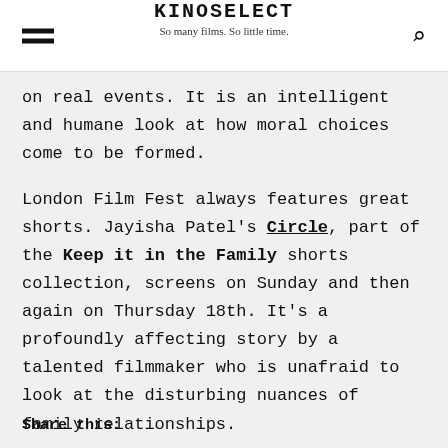KINOSELECT — So many films. So little time.
on real events. It is an intelligent and humane look at how moral choices come to be formed.
London Film Fest always features great shorts. Jayisha Patel's Circle, part of the Keep it in the Family shorts collection, screens on Sunday and then again on Thursday 18th. It's a profoundly affecting story by a talented filmmaker who is unafraid to look at the disturbing nuances of family relationships.
Share this: